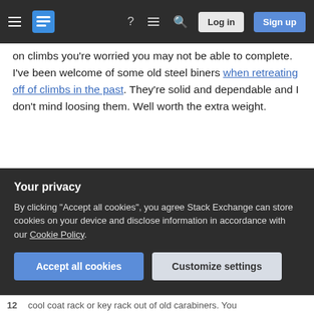Stack Exchange navigation bar with hamburger menu, logo, help, chat, search icons, Log in and Sign up buttons
on climbs you're worried you may not be able to complete. I've been welcome of some old steel biners when retreating off of climbs in the past. They're solid and dependable and I don't mind loosing them. Well worth the extra weight.
Share | edited Apr 13, 2017 at 12:48
Improve this answer
Follow
community wiki
4 revs
Your privacy
By clicking "Accept all cookies", you agree Stack Exchange can store cookies on your device and disclose information in accordance with our Cookie Policy.
Accept all cookies | Customize settings
12   cool coat rack or key rack out of old carabiners. You